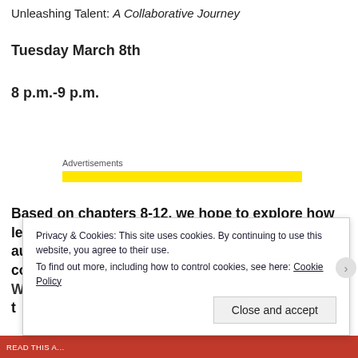Unleashing Talent: A Collaborative Journey
Tuesday March 8th
8 p.m.-9 p.m.
[Figure (other): Advertisement bar — yellow horizontal rectangle labeled Advertisements]
Based on chapters 8-12, we hope to explore how leaders might practice balancing trust and autonomy with strong mentorship. We will also consider the role of technology in our schools. What is personalized learning and how can t...
Privacy & Cookies: This site uses cookies. By continuing to use this website, you agree to their use.
To find out more, including how to control cookies, see here: Cookie Policy
Close and accept